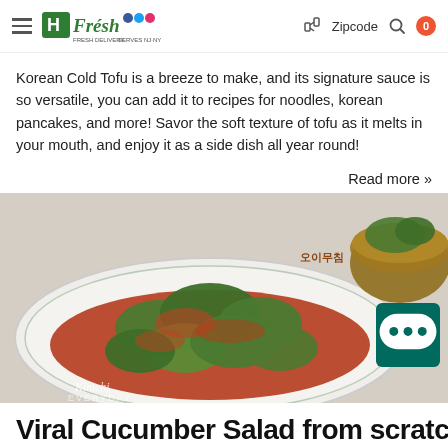HFresh — Zipcode | 0
Korean Cold Tofu is a breeze to make, and its signature sauce is so versatile, you can add it to recipes for noodles, korean pancakes, and more! Savor the soft texture of tofu as it melts in your mouth, and enjoy it as a side dish all year round!
Read more »
[Figure (photo): A plate of Korean smashed cucumber salad (오이무침) coated in red spicy sauce, on a white plate. Text overlay reads 'Viral Salad' and Korean characters '오이무침'. Kimchi Everyday watermark visible.]
Viral Cucumber Salad from scratch / 오이...